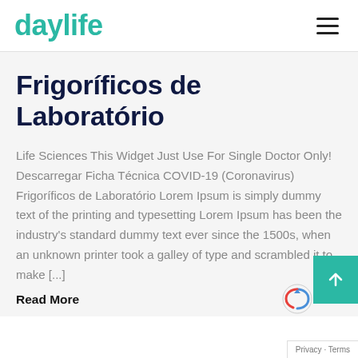daylife
Frigoríficos de Laboratório
Life Sciences This Widget Just Use For Single Doctor Only! Descarregar Ficha Técnica COVID-19 (Coronavirus) Frigoríficos de Laboratório Lorem Ipsum is simply dummy text of the printing and typesetting Lorem Ipsum has been the industry's standard dummy text ever since the 1500s, when an unknown printer took a galley of type and scrambled it to make [...]
Read More